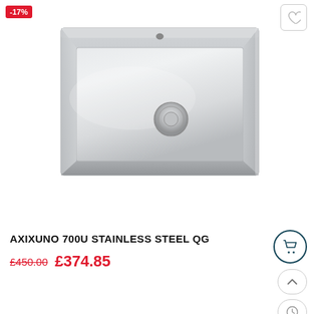-17%
[Figure (photo): Stainless steel undermount kitchen sink (AXIXUNO 700U) photographed from above at slight angle, showing rectangular basin with drain plug in center and overflow at back edge.]
AXIXUNO 700U STAINLESS STEEL QG
£450.00  £374.85